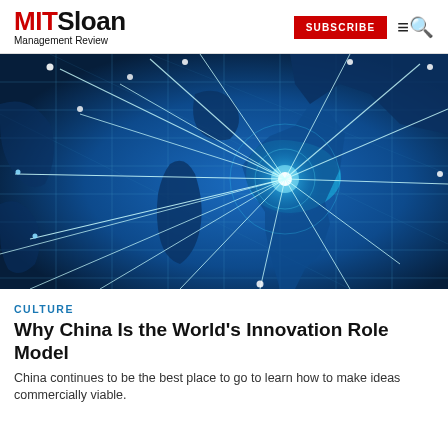MIT Sloan Management Review — SUBSCRIBE
[Figure (illustration): A stylized blue world map with glowing connection lines radiating outward from a central point over China/Asia, depicting global network connectivity on a blue background with grid lines.]
CULTURE
Why China Is the World's Innovation Role Model
China continues to be the best place to go to learn how to make ideas commercially viable.